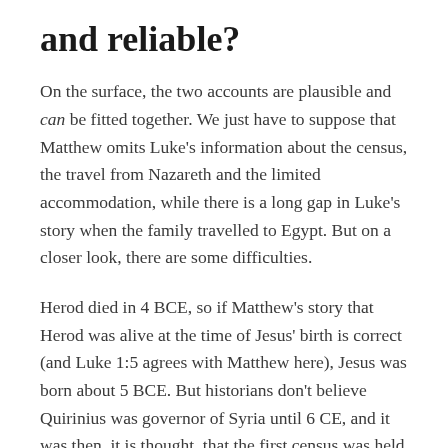and reliable?
On the surface, the two accounts are plausible and can be fitted together. We just have to suppose that Matthew omits Luke's information about the census, the travel from Nazareth and the limited accommodation, while there is a long gap in Luke's story when the family travelled to Egypt. But on a closer look, there are some difficulties.
Herod died in 4 BCE, so if Matthew's story that Herod was alive at the time of Jesus' birth is correct (and Luke 1:5 agrees with Matthew here), Jesus was born about 5 BCE. But historians don't believe Quirinius was governor of Syria until 6 CE, and it was then, it is thought, that the first census was held in